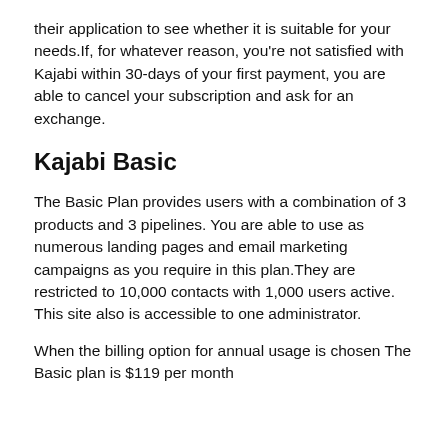their application to see whether it is suitable for your needs.If, for whatever reason, you're not satisfied with Kajabi within 30-days of your first payment, you are able to cancel your subscription and ask for an exchange.
Kajabi Basic
The Basic Plan provides users with a combination of 3 products and 3 pipelines. You are able to use as numerous landing pages and email marketing campaigns as you require in this plan.They are restricted to 10,000 contacts with 1,000 users active. This site also is accessible to one administrator.
When the billing option for annual usage is chosen The Basic plan is $119 per month